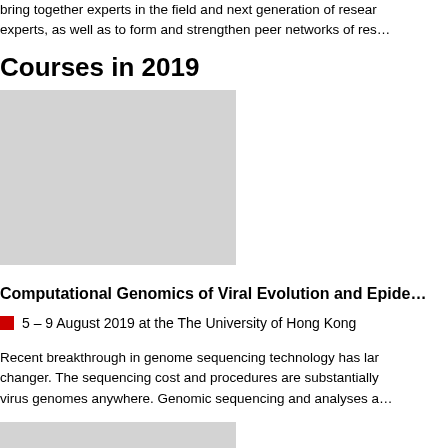bring together experts in the field and next generation of researchers and experts, as well as to form and strengthen peer networks of res...
Courses in 2019
[Figure (photo): Gray placeholder image for a course photo]
Computational Genomics of Viral Evolution and Epide...
5 – 9 August 2019 at the The University of Hong Kong
Recent breakthrough in genome sequencing technology has largely been a game changer. The sequencing cost and procedures are substantially reduced to sequence virus genomes anywhere. Genomic sequencing and analyses a...
[Figure (photo): Gray placeholder image for another course photo]